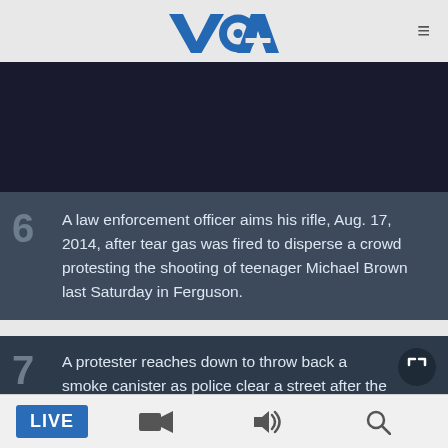[Figure (logo): VOA (Voice of America) logo in blue with stylized letters V, O, A]
[Figure (photo): Dark/black image area - partially visible photo related to Ferguson protests]
6  A law enforcement officer aims his rifle, Aug. 17, 2014, after tear gas was fired to disperse a crowd protesting the shooting of teenager Michael Brown last Saturday in Ferguson.
7  A protester reaches down to throw back a smoke canister as police clear a street after the passing of a midnight curfew meant to stem ongoing demonstrations in reaction to the shooting of Michael Brown in Ferguson, Missouri, Aug. 17, 2014.
LIVE  [video icon]  [audio icon]  [search icon]